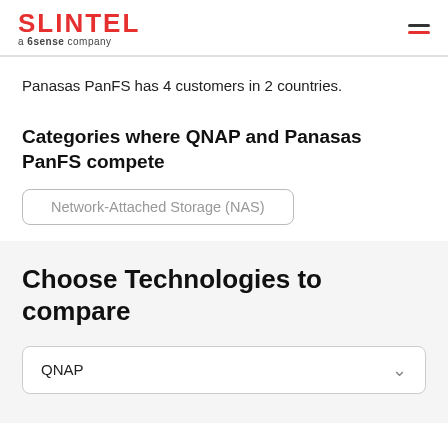SLINTEL a 6sense company
Panasas PanFS has 4 customers in 2 countries.
Categories where QNAP and Panasas PanFS compete
Network-Attached Storage (NAS)
Choose Technologies to compare
QNAP